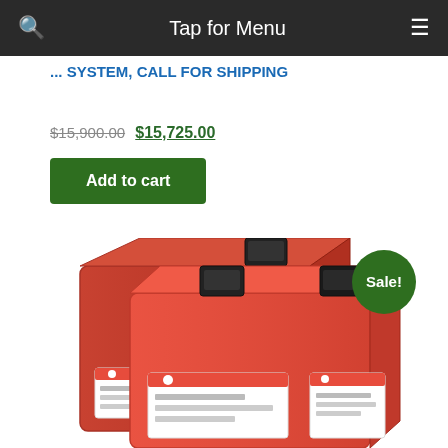Tap for Menu
... SYSTEM, CALL FOR SHIPPING
$15,900.00 $15,725.00
Add to cart
[Figure (photo): Two red industrial battery units with black terminals and white product labels, shown at an angle. A green 'Sale!' badge overlays the top right.]